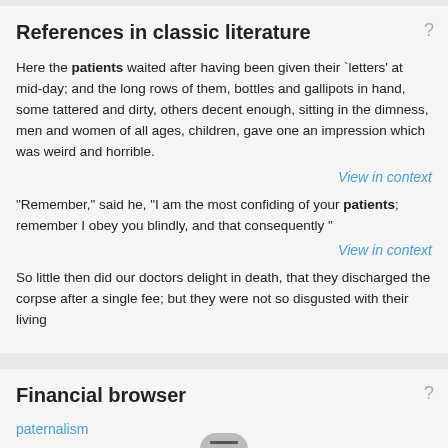References in classic literature
Here the patients waited after having been given their `letters' at mid-day; and the long rows of them, bottles and gallipots in hand, some tattered and dirty, others decent enough, sitting in the dimness, men and women of all ages, children, gave one an impression which was weird and horrible.
View in context
"Remember," said he, "I am the most confiding of your patients; remember I obey you blindly, and that consequently "
View in context
So little then did our doctors delight in death, that they discharged the corpse after a single fee; but they were not so disgusted with their living
Financial browser
paternalism